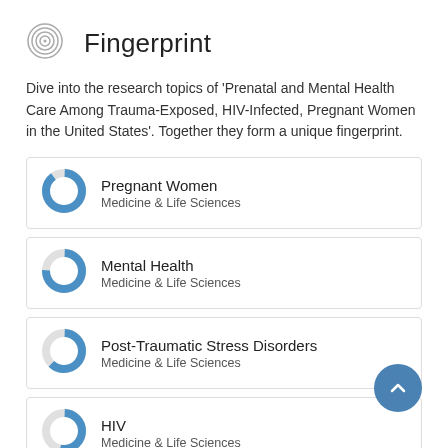Fingerprint
Dive into the research topics of 'Prenatal and Mental Health Care Among Trauma-Exposed, HIV-Infected, Pregnant Women in the United States'. Together they form a unique fingerprint.
Pregnant Women
Medicine & Life Sciences
Mental Health
Medicine & Life Sciences
Post-Traumatic Stress Disorders
Medicine & Life Sciences
HIV
Medicine & Life Sciences